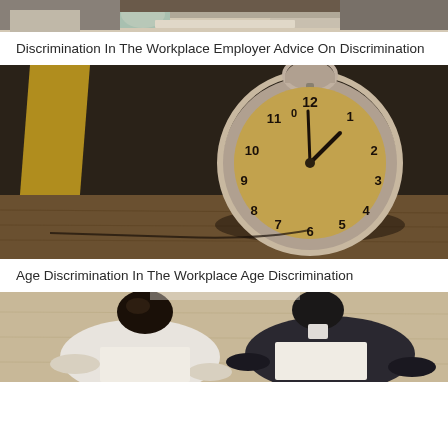[Figure (photo): Top portion of two people sitting at a desk with coffee mugs and documents, cropped to show only the top part of the scene]
Discrimination In The Workplace Employer Advice On Discrimination
[Figure (photo): Vintage alarm clock with worn face showing approximately 12:58, placed on a wooden floor against a dark background with yellow accents]
Age Discrimination In The Workplace Age Discrimination
[Figure (photo): Overhead aerial view of two people sitting at a table and working, one in a white jacket and one in a dark suit]